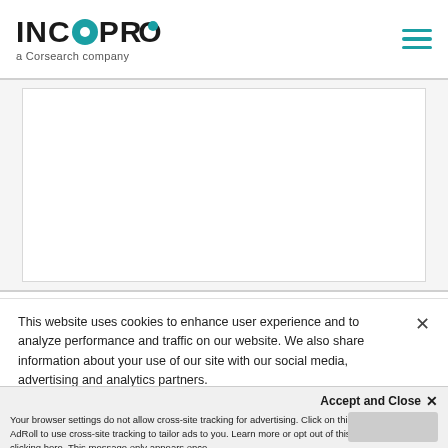[Figure (logo): INCOPRO logo with teal circle-O and dot above R, subtitle 'a Corsearch company']
[Figure (other): Hamburger menu icon (three horizontal teal lines) in top right corner]
[Figure (screenshot): White content panel area with light gray border background]
This website uses cookies to enhance user experience and to analyze performance and traffic on our website. We also share information about your use of our site with our social media, advertising and analytics partners.
Accept and Close ✕
Your browser settings do not allow cross-site tracking for advertising. Click on this page to allow AdRoll to use cross-site tracking to tailor ads to you. Learn more or opt out of this AdRoll tracking by clicking here. This message only appears once.